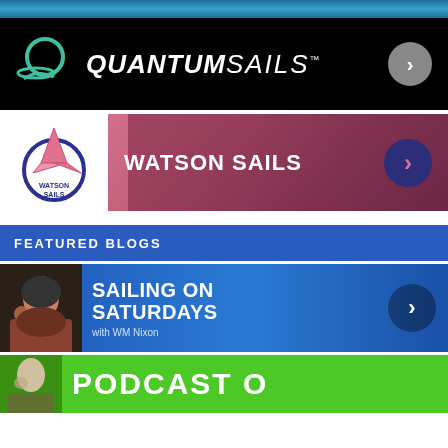[Figure (photo): Ocean/water scene photo strip at top]
[Figure (logo): Quantum Sails advertisement banner with teal circular logo on black background and grey chevron button]
[Figure (logo): Watson Sails advertisement banner with pink/magenta background, circular Watson Sails logo on white, and dark purple chevron button]
FEATURED BLOGS
[Figure (photo): Sailing on Saturdays with WM Nixon blog banner on blue background with person photo on left and dark chevron button on right]
[Figure (photo): Podcast banner on green background with partial view of person on left and large PODCAST text]